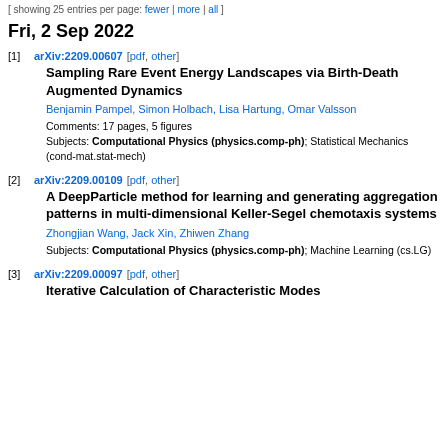[ showing 25 entries per page: fewer | more | all ]
Fri, 2 Sep 2022
[1] arXiv:2209.00607 [pdf, other]
Sampling Rare Event Energy Landscapes via Birth-Death Augmented Dynamics
Benjamin Pampel, Simon Holbach, Lisa Hartung, Omar Valsson
Comments: 17 pages, 5 figures
Subjects: Computational Physics (physics.comp-ph); Statistical Mechanics (cond-mat.stat-mech)
[2] arXiv:2209.00109 [pdf, other]
A DeepParticle method for learning and generating aggregation patterns in multi-dimensional Keller-Segel chemotaxis systems
Zhongjian Wang, Jack Xin, Zhiwen Zhang
Subjects: Computational Physics (physics.comp-ph); Machine Learning (cs.LG)
[3] arXiv:2209.00097 [pdf, other]
Iterative Calculation of Characteristic Modes